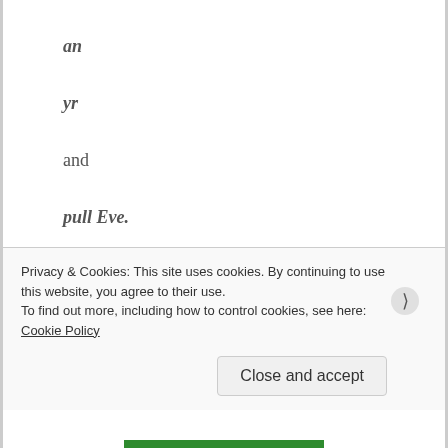an
yr
and
pull Eve.
Can we make anything of these?  Oh but wait, I forgot ‘editor’.  This is usually abbreviated to ‘ed’ which gives us quite a
Privacy & Cookies: This site uses cookies. By continuing to use this website, you agree to their use.
To find out more, including how to control cookies, see here: Cookie Policy
Close and accept